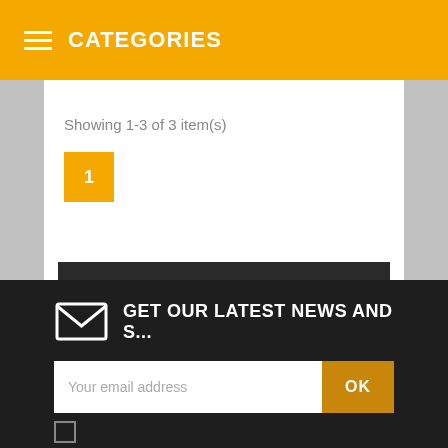CATEGORIES
Showing 1-3 of 3 item(s)
1
NEW PRODUCTS
GET OUR LATEST NEWS AND S...
Your email address
OK